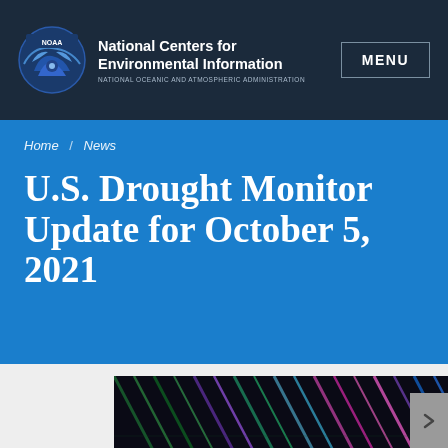National Centers for Environmental Information — NATIONAL OCEANIC AND ATMOSPHERIC ADMINISTRATION — MENU
Home / News
U.S. Drought Monitor Update for October 5, 2021
[Figure (photo): Close-up photograph of a water droplet resting on a colorful peacock feather with vivid green, purple, and teal iridescent colors]